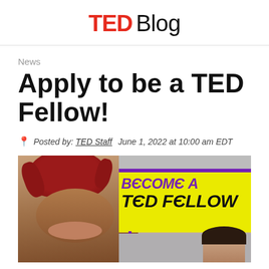TED Blog
News
Apply to be a TED Fellow!
Posted by: TED Staff   June 1, 2022 at 10:00 am EDT
[Figure (photo): Promotional image for TED Fellows program showing a smiling woman with red locs and a yellow banner reading 'BECOME A TED FELLOW' with a purple 'APPLY NOW →' button]